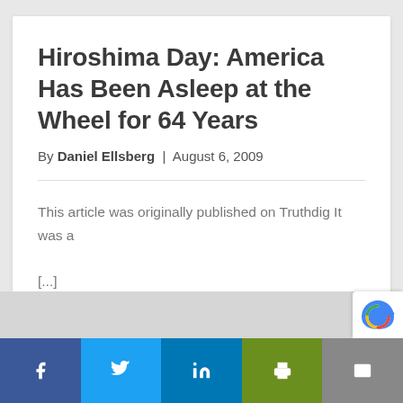Hiroshima Day: America Has Been Asleep at the Wheel for 64 Years
By Daniel Ellsberg | August 6, 2009
This article was originally published on Truthdig It was a [...]
Read More >